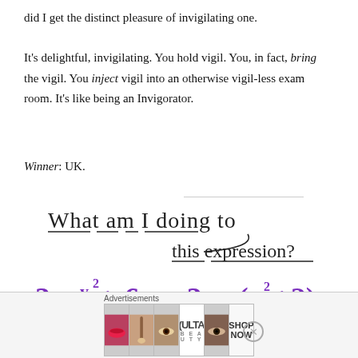did I get the distinct pleasure of invigilating one.
It’s delightful, invigilating. You hold vigil. You, in fact, bring the vigil. You inject vigil into an otherwise vigil-less exam room. It’s like being an Invigorator.
Winner: UK.
[Figure (illustration): Handwritten text reading 'What am I doing to this expression?' with underlines beneath words]
[Figure (math-figure): Handwritten purple math expression: 3xy^2 + 6x = 3x(y^2+2)]
Advertisements
[Figure (other): Advertisement banner strip showing makeup/beauty images and ULTA beauty brand with SHOP NOW text]